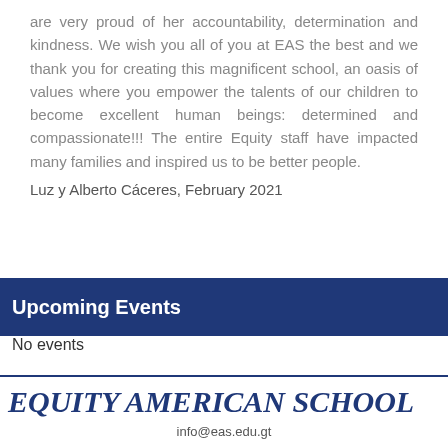are very proud of her accountability, determination and kindness. We wish you all of you at EAS the best and we thank you for creating this magnificent school, an oasis of values where you empower the talents of our children to become excellent human beings: determined and compassionate!!! The entire Equity staff have impacted many families and inspired us to be better people.
Luz y Alberto Cáceres, February 2021
Upcoming Events
No events
EQUITY AMERICAN SCHOOL
info@eas.edu.gt